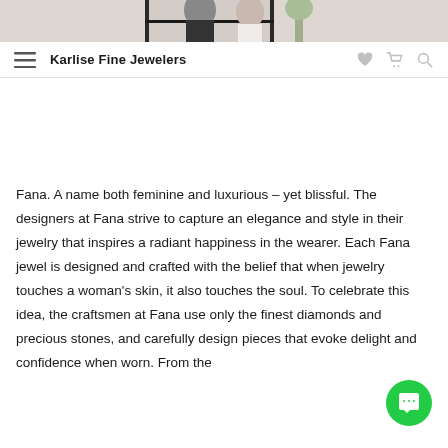[Figure (photo): Couple in formal attire, partially cropped wedding photo at top of page]
Karlise Fine Jewelers
Fana. A name both feminine and luxurious – yet blissful. The designers at Fana strive to capture an elegance and style in their jewelry that inspires a radiant happiness in the wearer. Each Fana jewel is designed and crafted with the belief that when jewelry touches a woman's skin, it also touches the soul. To celebrate this idea, the craftsmen at Fana use only the finest diamonds and precious stones, and carefully design pieces that evoke delight and confidence when worn. From the